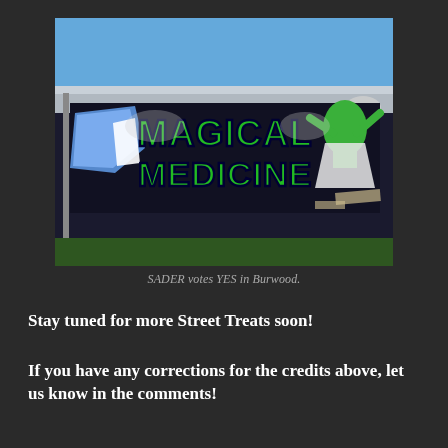[Figure (photo): Photograph of a graffiti mural on a wall reading 'MAGICAL MEDICINE' in large green bubble letters with black outlines, accompanied by a cartoon character. The wall is alongside a grass lawn under a clear blue sky.]
SADER votes YES in Burwood.
Stay tuned for more Street Treats soon!
If you have any corrections for the credits above, let us know in the comments!